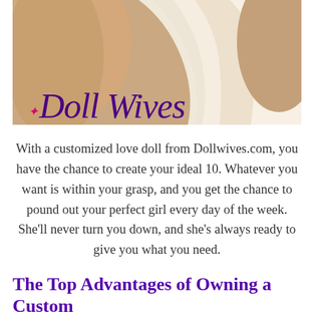[Figure (photo): Close-up photo of a woman in a white draped garment, with 'Doll Wives' logo overlaid in purple italic script with pink figure icon]
With a customized love doll from Dollwives.com, you have the chance to create your ideal 10. Whatever you want is within your grasp, and you get the chance to pound out your perfect girl every day of the week. She'll never turn you down, and she's always ready to give you what you need.
The Top Advantages of Owning a Custom